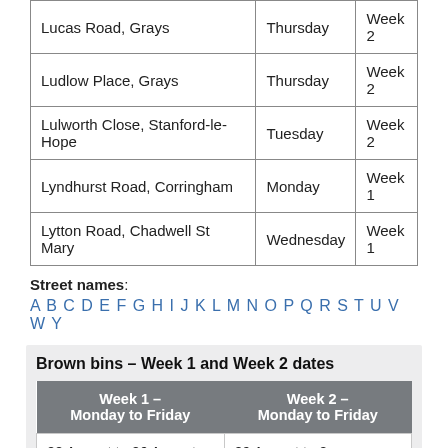| Lucas Road, Grays | Thursday | Week 2 |
| Ludlow Place, Grays | Thursday | Week 2 |
| Lulworth Close, Stanford-le-Hope | Tuesday | Week 2 |
| Lyndhurst Road, Corringham | Monday | Week 1 |
| Lytton Road, Chadwell St Mary | Wednesday | Week 1 |
Street names: A B C D E F G H I J K L M N O P Q R S T U V W Y
Brown bins – Week 1 and Week 2 dates
| Week 1 – Monday to Friday | Week 2 – Monday to Friday |
| --- | --- |
| 22 August to 26 August | 29 August to 2 September |
| 5 September to
9 September | 12 September to
16 September |